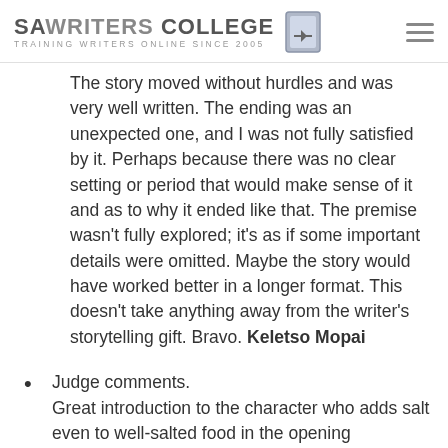SA WRITERS COLLEGE — TRAINING WRITERS ONLINE SINCE 2005
The story moved without hurdles and was very well written. The ending was an unexpected one, and I was not fully satisfied by it. Perhaps because there was no clear setting or period that would make sense of it and as to why it ended like that. The premise wasn't fully explored; it's as if some important details were omitted. Maybe the story would have worked better in a longer format. This doesn't take anything away from the writer's storytelling gift. Bravo. Keletso Mopai
Judge comments. Great introduction to the character who adds salt even to well-salted food in the opening paragraphs. While the other stories have grappled with psychology, this story is more plot-driven. However, one almost doesn't buy the choice made by Baba